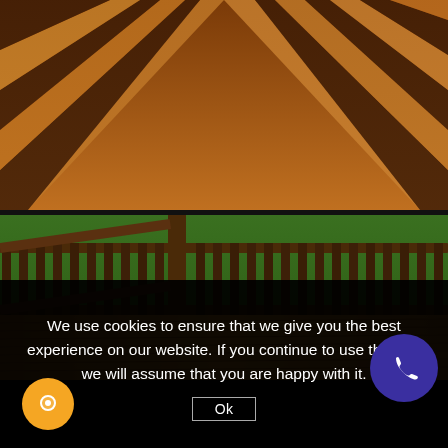[Figure (photo): Close-up overhead view of composite or wood deck boards in warm brown/orange tones, with dark gaps between planks converging toward the upper portion of the frame.]
[Figure (photo): Wooden deck with dark brown railing and vertical balusters, overlooking a green lawn. The deck floor shows warm golden-brown stained wood planks.]
We use cookies to ensure that we give you the best experience on our website. If you continue to use this site we will assume that you are happy with it.
Ok